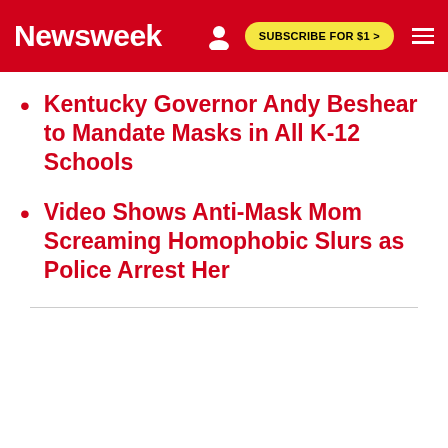Newsweek | SUBSCRIBE FOR $1 >
Kentucky Governor Andy Beshear to Mandate Masks in All K-12 Schools
Video Shows Anti-Mask Mom Screaming Homophobic Slurs as Police Arrest Her